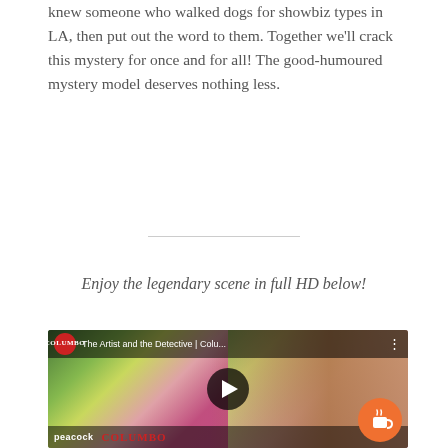knew someone who walked dogs for showbiz types in LA, then put out the word to them. Together we'll crack this mystery for once and for all! The good-humoured mystery model deserves nothing less.
Enjoy the legendary scene in full HD below!
[Figure (screenshot): YouTube video thumbnail showing 'The Artist and the Detective | Colu...' from the Columbo channel, with a play button overlay, peacock branding and Columbo logo at bottom. Features an image of a man (Peter Falk as Columbo) and colorful floral artwork.]